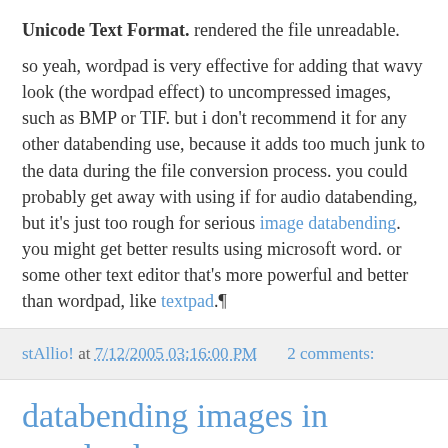Unicode Text Format. rendered the file unreadable.
so yeah, wordpad is very effective for adding that wavy look (the wordpad effect) to uncompressed images, such as BMP or TIF. but i don't recommend it for any other databending use, because it adds too much junk to the data during the file conversion process. you could probably get away with using if for audio databending, but it's just too rough for serious image databending. you might get better results using microsoft word. or some other text editor that's more powerful and better than wordpad, like textpad.¶
stAllio! at 7/12/2005 03:16:00 PM   2 comments:
databending images in wordpad
pursuant to my my post from saturday, dj empirical has tried his hand at databending images, using wordpad as his